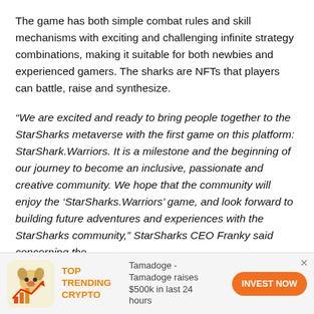The game has both simple combat rules and skill mechanisms with exciting and challenging infinite strategy combinations, making it suitable for both newbies and experienced gamers. The sharks are NFTs that players can battle, raise and synthesize.
“We are excited and ready to bring people together to the StarSharks metaverse with the first game on this platform: StarShark.Warriors. It is a milestone and the beginning of our journey to become an inclusive, passionate and creative community. We hope that the community will enjoy the ‘StarSharks.Warriors’ game, and look forward to building future adventures and experiences with the StarSharks community,” StarSharks CEO Franky said concerning the
[Figure (infographic): Advertisement banner: Tamadoge crypto ad with dog icon, 'TOP TRENDING CRYPTO' label in orange, text 'Tamadoge - Tamadoge raises $500k in last 24 hours', and an orange 'INVEST NOW' button.]